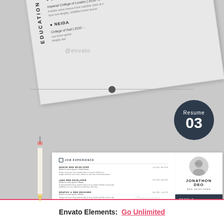[Figure (illustration): Preview of resume template showing top tilted page with EDUCATION section (BACHLORS OF ARTS, Imperial College of London 2014-, lorem ipsum text), divider line with dot, and main resume card below showing JOB EXPERIENCE (SENIOR WEB DEVELOPER, LEAD WEB DEVELOPER, GRAPHIC & WEB DESIGNER) and EDUCATION sections on left, and JONATHON DEO / WEB DEVELOPER with profile photo and PROFILE section on right sidebar in dark navy. Resume 03 badge in top right corner. Pencil prop on left side. Envato watermark overlay.]
Envato Elements:  Go Unlimited